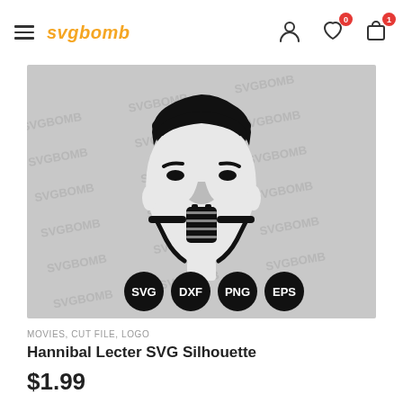svgbomb — navigation header with hamburger menu, logo, user/wishlist/cart icons
[Figure (illustration): Hannibal Lecter SVG silhouette on grey textured background with SVGBOMB watermark. Black silhouette face with muzzle mask. Four format badges at bottom: SVG, DXF, PNG, EPS in black circles.]
MOVIES, CUT FILE, LOGO
Hannibal Lecter SVG Silhouette
$1.99